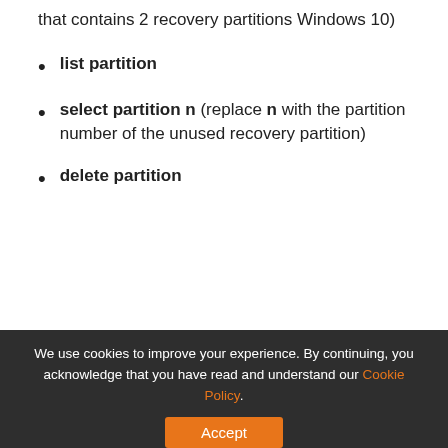that contains 2 recovery partitions Windows 10)
list partition
select partition n (replace n with the partition number of the unused recovery partition)
delete partition
[Figure (screenshot): Windows Command Prompt (diskpart.exe) showing Microsoft DiskPart version 10.0.16299.15, Copyright (C) Microsoft Corporation, On computer: DESKTOP-478J731, with command 'list disk' highlighted in a red border, showing disk listing with headers Disk ###, Status, Size, Free, Dyn, Gpt, and Disk 0 Online 60 GB 0 B]
We use cookies to improve your experience. By continuing, you acknowledge that you have read and understand our Cookie Policy.